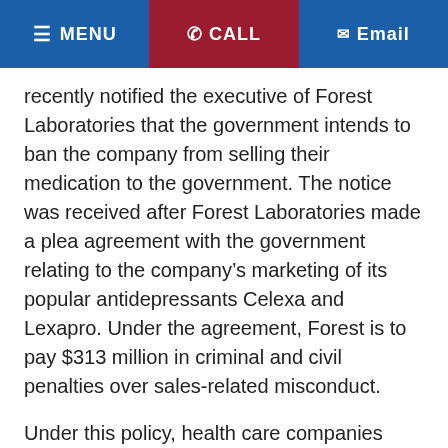≡ MENU  ✆ CALL  ✉ Email
recently notified the executive of Forest Laboratories that the government intends to ban the company from selling their medication to the government. The notice was received after Forest Laboratories made a plea agreement with the government relating to the company's marketing of its popular antidepressants Celexa and Lexapro. Under the agreement, Forest is to pay $313 million in criminal and civil penalties over sales-related misconduct.
Under this policy, health care companies would not be able to do business with government entities including Medicare, Medicaid, and the Veteran's Administration.